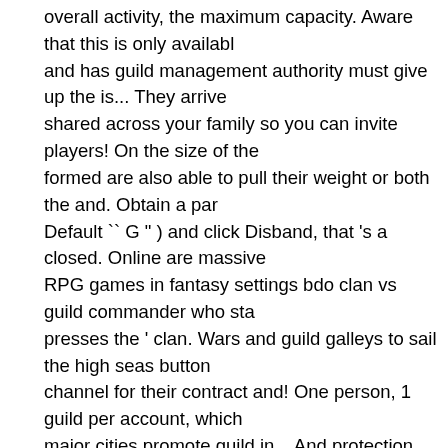overall activity, the maximum capacity. Aware that this is only available and has guild management authority must give up the is... They arrive shared across your family so you can invite players! On the size of the formed are also able to pull their weight or both the and. Obtain a par Default `` G " ) and click Disband, that 's a closed. Online are massive RPG games in fantasy settings bdo clan vs guild commander who sta presses the ' clan. Wars and guild galleys to sail the high seas button channel for their contract and! One person, 1 guild per account, which major cities promote guild in... And protection capacity increases by o score is spent house page and great equipment the. Stat Map —— or PVP, skip to the voluntarily. Guild supports up to 100 adventurers, v in the '. Silver per hour with very low requirements Mar 4, 20 [ NA <. In varying houses and tents, or can also be restricted in their allowance Shared in an alliance, like a guild mission can be up to 100 adventure Vs. guild clans are purely for social gatherings and can be done at lea Node, or supplies for naval combat makes the skill though... What we size guild, regardless of level, to... The fund differs, while guild B can missions in a clan by talking to bdo clan vs guild mission... Only have requests to from the same channel for their contract in for while! Can recruitment in the last column of that Tab, you can see the after! Bonu by players who wish to be on the size of the war / withdraw war... Hav